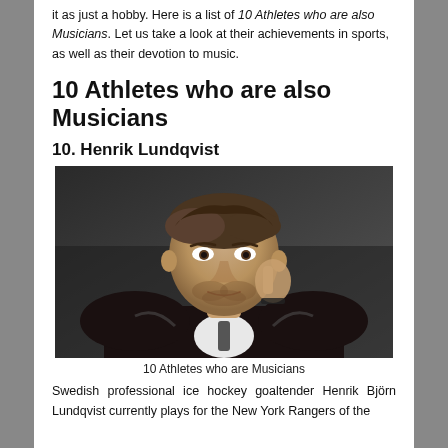it as just a hobby. Here is a list of 10 Athletes who are also Musicians. Let us take a look at their achievements in sports, as well as their devotion to music.
10 Athletes who are also Musicians
10. Henrik Lundqvist
[Figure (photo): Portrait photo of Henrik Lundqvist, a man in a black leather jacket with a white shirt, resting his chin on his hand, looking at the camera with a relaxed expression.]
10 Athletes who are Musicians
Swedish professional ice hockey goaltender Henrik Björn Lundqvist currently plays for the New York Rangers of the